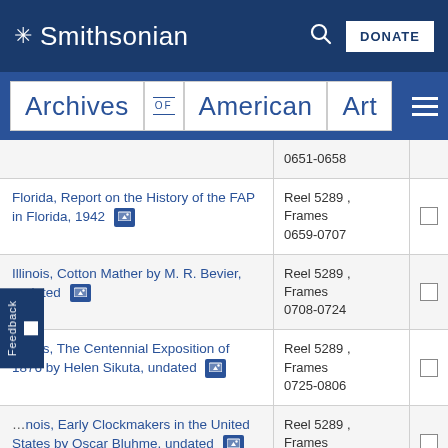Smithsonian — Archives of American Art
| Title | Reel/Frames | Select |
| --- | --- | --- |
| [partial] 0651-0658 | 0651-0658 |  |
| Florida, Report on the History of the FAP in Florida, 1942 | Reel 5289 , Frames 0659-0707 |  |
| Illinois, Cotton Mather by M. R. Bevier, undated | Reel 5289 , Frames 0708-0724 |  |
| Illinois, The Centennial Exposition of 1876 by Helen Sikuta, undated | Reel 5289 , Frames 0725-0806 |  |
| Illinois, Early Clockmakers in the United States by Oscar Bluhme, undated | Reel 5289 , Frames 0807-0823 |  |